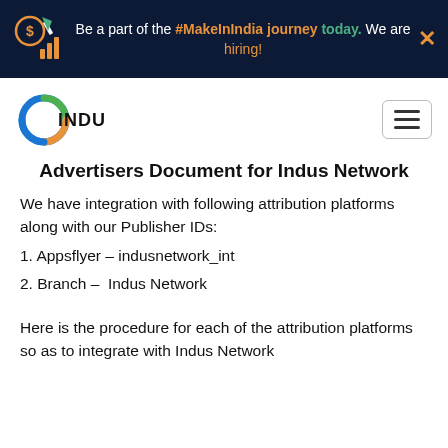Be a part of the #MakeInIndia journey today. We are hiring!
[Figure (logo): Indus Network logo with circular colorful ring and INDUS text]
Advertisers Document for Indus Network
We have integration with following attribution platforms along with our Publisher IDs:
1. Appsflyer – indusnetwork_int
2. Branch –  Indus Network
Here is the procedure for each of the attribution platforms so as to integrate with Indus Network